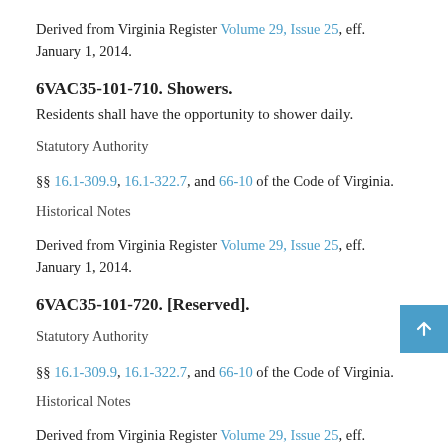Derived from Virginia Register Volume 29, Issue 25, eff. January 1, 2014.
6VAC35-101-710. Showers.
Residents shall have the opportunity to shower daily.
Statutory Authority
§§ 16.1-309.9, 16.1-322.7, and 66-10 of the Code of Virginia.
Historical Notes
Derived from Virginia Register Volume 29, Issue 25, eff. January 1, 2014.
6VAC35-101-720. [Reserved].
Statutory Authority
§§ 16.1-309.9, 16.1-322.7, and 66-10 of the Code of Virginia.
Historical Notes
Derived from Virginia Register Volume 29, Issue 25, eff. January 1,